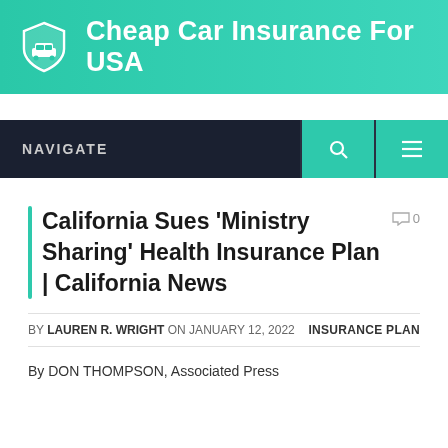[Figure (logo): Cheap Car Insurance For USA website header banner with shield/car icon on teal gradient background]
NAVIGATE
California Sues ‘Ministry Sharing’ Health Insurance Plan | California News
BY LAUREN R. WRIGHT ON JANUARY 12, 2022   INSURANCE PLAN
By DON THOMPSON, Associated Press